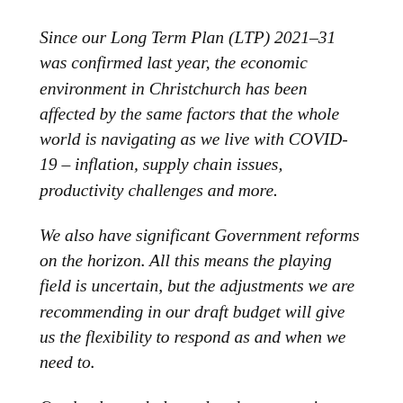Since our Long Term Plan (LTP) 2021–31 was confirmed last year, the economic environment in Christchurch has been affected by the same factors that the whole world is navigating as we live with COVID-19 – inflation, supply chain issues, productivity challenges and more.
We also have significant Government reforms on the horizon. All this means the playing field is uncertain, but the adjustments we are recommending in our draft budget will give us the flexibility to respond as and when we need to.
Our books are balanced and we are going to keep investing in doing the basics and doing them well whilst keeping costs as low as